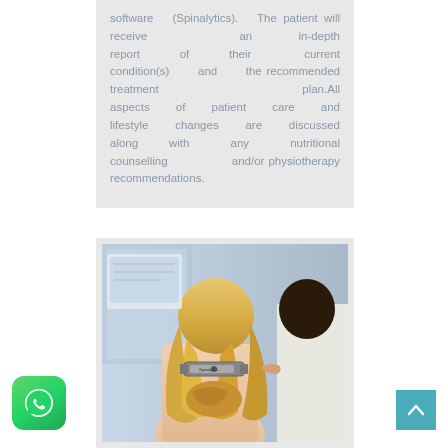software (Spinalytics). The patient will receive an in-depth report of their current condition(s) and the recommended treatment plan.All aspects of patient care and lifestyle changes are discussed along with any nutritional counselling and/or physiotherapy recommendations.
[Figure (photo): A healthcare professional examining a patient's back/spine from behind using a medical measurement device, with the patient having long blonde hair.]
[Figure (logo): WhatsApp app icon — green rounded square with white phone/chat bubble logo.]
[Figure (other): Scroll-to-top button — teal/cyan square with white upward-pointing chevron arrow.]